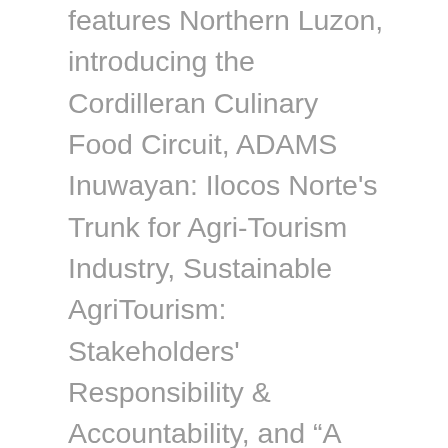features Northern Luzon, introducing the Cordilleran Culinary Food Circuit, ADAMS Inuwayan: Ilocos Norte's Trunk for Agri-Tourism Industry, Sustainable AgriTourism: Stakeholders' Responsibility & Accountability, and “A glimpse of the culinary treasures of Nueva Ecija”. The National Capital Region and Southern Luzon will showcase Foodie Adventures in Metro Manila, and Agri-Cul-Tour: Farm-To-Table Adventure in CALABARZON. Western Visayas will highlight Negrense Heritage Cuisine and our close connection to the sugar industry followed by Kadto ‘ta! Kaon ‘ta! – A Food